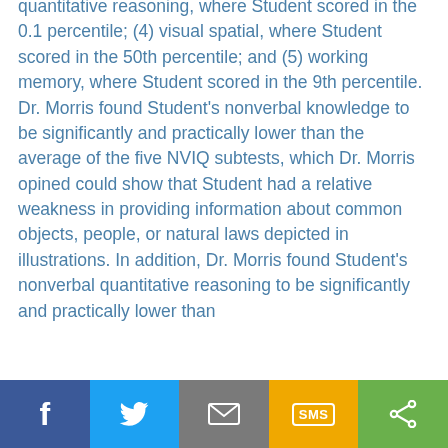quantitative reasoning, where Student scored in the 0.1 percentile; (4) visual spatial, where Student scored in the 50th percentile; and (5) working memory, where Student scored in the 9th percentile. Dr. Morris found Student's nonverbal knowledge to be significantly and practically lower than the average of the five NVIQ subtests, which Dr. Morris opined could show that Student had a relative weakness in providing information about common objects, people, or natural laws depicted in illustrations. In addition, Dr. Morris found Student's nonverbal quantitative reasoning to be significantly and practically lower than
Facebook | Twitter | Email | SMS | Share